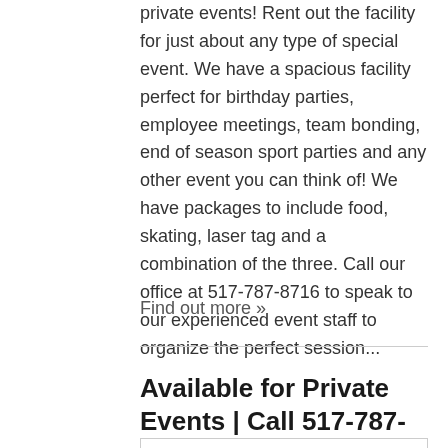private events! Rent out the facility for just about any type of special event. We have a spacious facility perfect for birthday parties, employee meetings, team bonding, end of season sport parties and any other event you can think of! We have packages to include food, skating, laser tag and a combination of the three. Call our office at 517-787-8716 to speak to our experienced event staff to organize the perfect session...
Find out more »
Available for Private Events | Call 517-787-8716